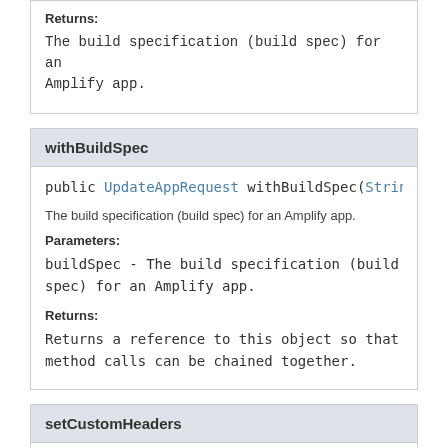Returns:
The build specification (build spec) for an Amplify app.
withBuildSpec
public UpdateAppRequest withBuildSpec(String buil
The build specification (build spec) for an Amplify app.
Parameters:
buildSpec - The build specification (build spec) for an Amplify app.
Returns:
Returns a reference to this object so that method calls can be chained together.
setCustomHeaders
public void setCustomHeaders(String customHeaders